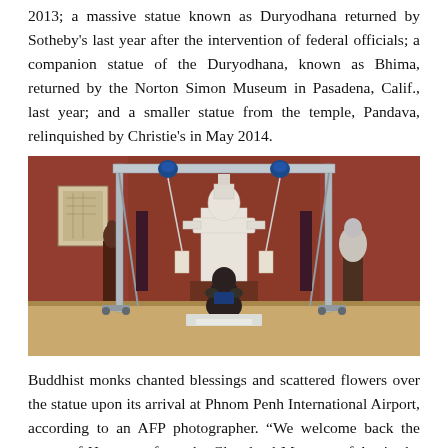2013; a massive statue known as Duryodhana returned by Sotheby's last year after the intervention of federal officials; a companion statue of the Duryodhana, known as Bhima, returned by the Norton Simon Museum in Pasadena, Calif., last year; and a smaller statue from the temple, Pandava, relinquished by Christie's in May 2014.
[Figure (photo): A museum gallery with red walls and wooden floors. A metal gantry/crane frame is set up in the center, with cables and blue hoists at the top. A large white statue stands in the background center, and a smaller dark statue sits on the floor beneath the crane. Additional statues are visible on pedestals on the left and right sides.]
Buddhist monks chanted blessings and scattered flowers over the statue upon its arrival at Phnom Penh International Airport, according to an AFP photographer. “We welcome back the statue of Hanuman from the Cleveland Museum of Art in the US,” Chan Tani, Cambodian Secretary of State for the Cabinet Office, told reporters.